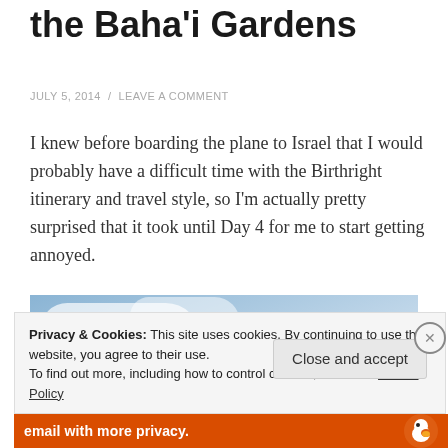the Baha'i Gardens
JULY 5, 2014  /  LEAVE A COMMENT
I knew before boarding the plane to Israel that I would probably have a difficult time with the Birthright itinerary and travel style, so I'm actually pretty surprised that it took until Day 4 for me to start getting annoyed.
[Figure (photo): Photo of a green tree against a blue sky with white clouds]
Privacy & Cookies: This site uses cookies. By continuing to use this website, you agree to their use.
To find out more, including how to control cookies, see here: Cookie Policy
Close and accept
email with more privacy.